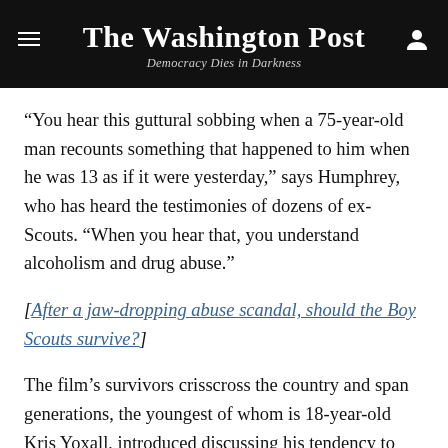The Washington Post
Democracy Dies in Darkness
“You hear this guttural sobbing when a 75-year-old man recounts something that happened to him when he was 13 as if it were yesterday,” says Humphrey, who has heard the testimonies of dozens of ex-Scouts. “When you hear that, you understand alcoholism and drug abuse.”
[After a jaw-dropping abuse scandal, should the Boy Scouts survive?]
The film’s survivors crisscross the country and span generations, the youngest of whom is 18-year-old Kris Yoxall, introduced discussing his tendency to punch